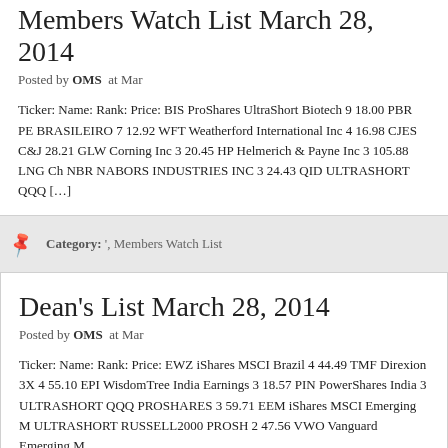Members Watch List March 28, 2014
Posted by OMS at Mar
Ticker: Name: Rank: Price: BIS ProShares UltraShort Biotech 9 18.00 PBR PE BRASILEIRO 7 12.92 WFT Weatherford International Inc 4 16.98 CJES C&J 28.21 GLW Corning Inc 3 20.45 HP Helmerich & Payne Inc 3 105.88 LNG Ch NBR NABORS INDUSTRIES INC 3 24.43 QID ULTRASHORT QQQ […]
Category: ', Members Watch List
Dean's List March 28, 2014
Posted by OMS at Mar
Ticker: Name: Rank: Price: EWZ iShares MSCI Brazil 4 44.49 TMF Direxion 3X 4 55.10 EPI WisdomTree India Earnings 3 18.57 PIN PowerShares India 3 ULTRASHORT QQQ PROSHARES 3 59.71 EEM iShares MSCI Emerging M ULTRASHORT RUSSELL2000 PROSH 2 47.56 VWO Vanguard Emerging M
Category: ', Dean's List